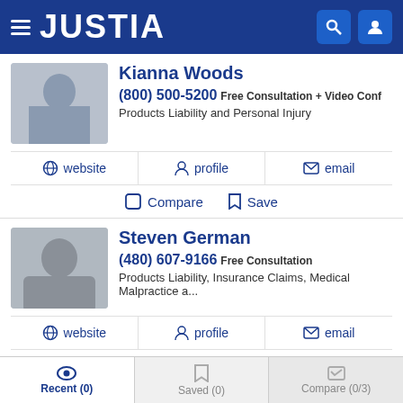JUSTIA
Kianna Woods
(800) 500-5200 Free Consultation + Video Conf
Products Liability and Personal Injury
website  profile  email
Compare  Save
Steven German
(480) 607-9166 Free Consultation
Products Liability, Insurance Claims, Medical Malpractice a...
website  profile  email
Compare  Save
Recent (0)  Saved (0)  Compare (0/3)